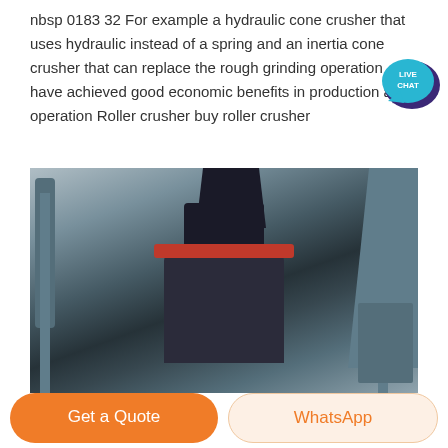nbsp 0183 32 For example a hydraulic cone crusher that uses hydraulic instead of a spring and an inertia cone crusher that can replace the rough grinding operation have achieved good economic benefits in production and operation Roller crusher buy roller crusher
[Figure (photo): Industrial crusher machinery in a factory setting, showing a large cone crusher with a red ring, scaffolding, hopper, and surrounding industrial structures]
Get a Quote
WhatsApp